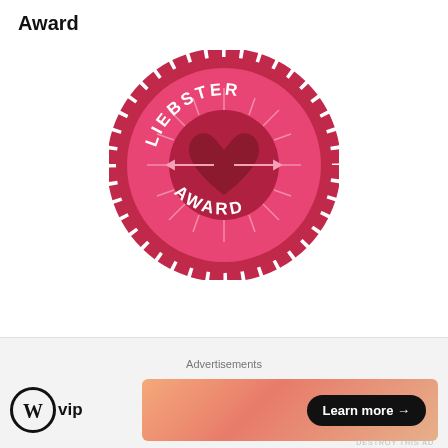Award
[Figure (illustration): Liebster Award badge: circular pink and red scalloped medallion with text 'LIEBSTER' at top and 'AWARD' at bottom, decorative arrows, sunburst rays, and a red heart in the center]
Follow me on bloglovin'
Advertisements
[Figure (logo): WordPress VIP logo: circular W mark followed by 'vip' text in bold]
[Figure (infographic): Advertisement banner with gradient orange/pink background and 'Learn more →' button in black pill shape]